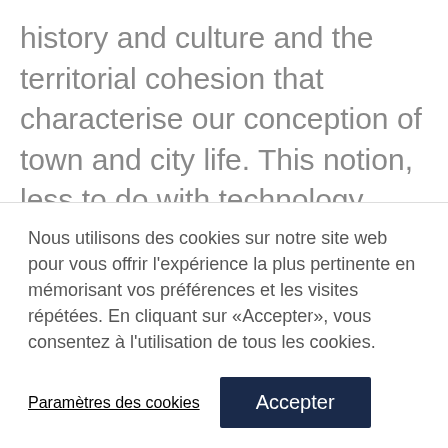history and culture and the territorial cohesion that characterise our conception of town and city life. This notion, less to do with technology than our sense of society and heritage, explains why it is so difficult, particularly in France, to demolish in order to rebuild what amounts in some way to a few rows of houses. It also explains why, 60 years after their construction, Marne-la-Vallée, Melun-Sénart and Evry are still seen as 'new towns'
Nous utilisons des cookies sur notre site web pour vous offrir l'expérience la plus pertinente en mémorisant vos préférences et les visites répétées. En cliquant sur «Accepter», vous consentez à l'utilisation de tous les cookies.
Paramètres des cookies
Accepter